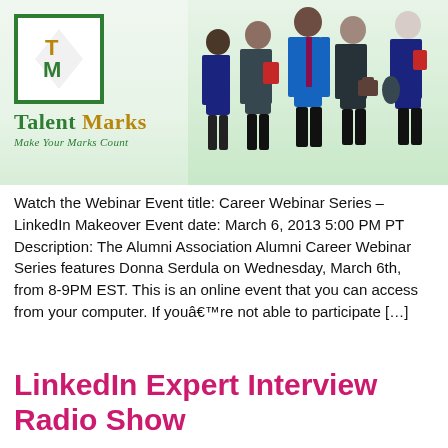[Figure (logo): Talent Marks logo with green bordered square containing TM letters, gold and green text 'Talent Marks Make Your Marks Count', alongside photo of business professionals group]
Watch the Webinar Event title: Career Webinar Series – LinkedIn Makeover Event date: March 6, 2013 5:00 PM PT Description: The Alumni Association Alumni Career Webinar Series features Donna Serdula on Wednesday, March 6th, from 8-9PM EST. This is an online event that you can access from your computer. If youâ€™re not able to participate […]
LinkedIn Expert Interview Radio Show